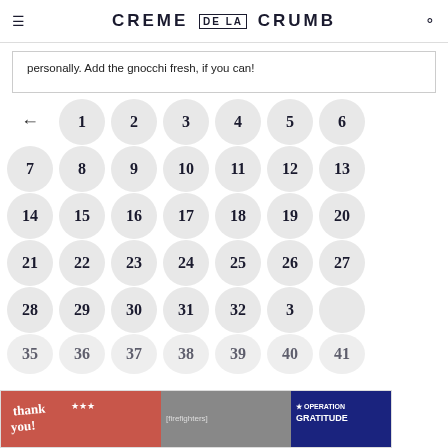CREME DE LA CRUMB
personally. Add the gnocchi fresh, if you can!
[Figure (other): A calendar/number selector widget showing numbers 1-41+ arranged in a grid of circular buttons. Has a left arrow navigation button and rows: ←,1,2,3,4,5,6 / 7,8,9,10,11,12,13 / 14,15,16,17,18,19,20 / 21,22,23,24,25,26,27 / 28,29,30,31,32,3x,37 / 35,36,37,38,39,40,41]
[Figure (other): Advertisement banner: Thank you Operation Gratitude with firefighters image]